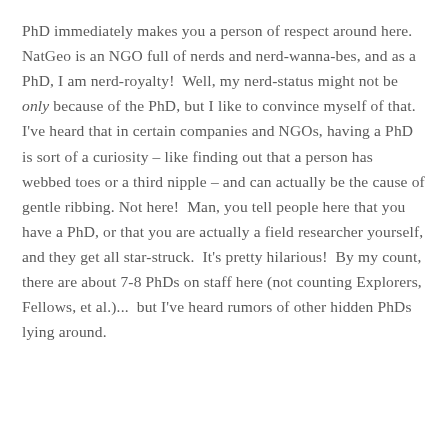PhD immediately makes you a person of respect around here.  NatGeo is an NGO full of nerds and nerd-wanna-bes, and as a PhD, I am nerd-royalty!  Well, my nerd-status might not be only because of the PhD, but I like to convince myself of that.  I've heard that in certain companies and NGOs, having a PhD is sort of a curiosity – like finding out that a person has webbed toes or a third nipple – and can actually be the cause of gentle ribbing. Not here!  Man, you tell people here that you have a PhD, or that you are actually a field researcher yourself, and they get all star-struck.  It's pretty hilarious!  By my count, there are about 7-8 PhDs on staff here (not counting Explorers, Fellows, et al.)...  but I've heard rumors of other hidden PhDs lying around.